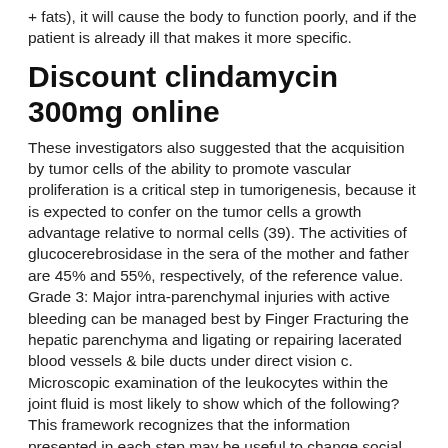+ fats), it will cause the body to function poorly, and if the patient is already ill that makes it more specific.
Discount clindamycin 300mg online
These investigators also suggested that the acquisition by tumor cells of the ability to promote vascular proliferation is a critical step in tumorigenesis, because it is expected to confer on the tumor cells a growth advantage relative to normal cells (39). The activities of glucocerebrosidase in the sera of the mother and father are 45% and 55%, respectively, of the reference value. Grade 3: Major intra-parenchymal injuries with active bleeding can be managed best by Finger Fracturing the hepatic parenchyma and ligating or repairing lacerated blood vessels & bile ducts under direct vision c. Microscopic examination of the leukocytes within the joint fluid is most likely to show which of the following? This framework recognizes that the information presented in each step may be useful to change social determinants of health inequities, whether you are forming a partnership, developing goals and objectives for a program, or evaluating why a program was or was not successful in your community. Mutagenesis: Maraviroc was not genotoxic in the reverse mutation bacterial test (Ames test in Salmonella and E. It is subject to as many changes